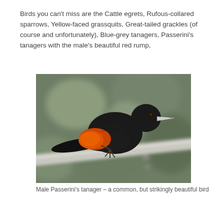Birds you can't miss are the Cattle egrets, Rufous-collared sparrows, Yellow-faced grassquits, Great-tailed grackles (of course and unfortunately), Blue-grey tanagers, Passerini's tanagers with the male's beautiful red rump,
[Figure (photo): A male Passerini's tanager perched on a white branch. The bird is mostly black with a vivid orange-red patch on its rump/wing area, a white beak tip, and dark eye. Background is blurred grey-green foliage.]
Male Passerini's tanager – a common, but strikingly beautiful bird